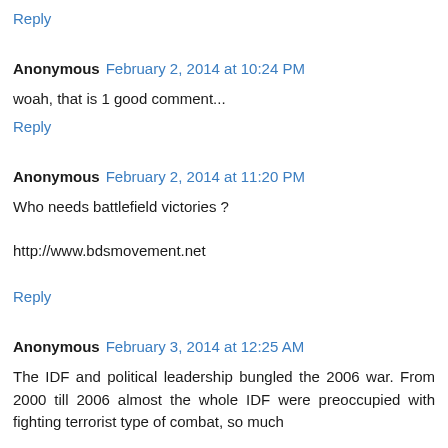Reply
Anonymous  February 2, 2014 at 10:24 PM
woah, that is 1 good comment...
Reply
Anonymous  February 2, 2014 at 11:20 PM
Who needs battlefield victories ?
http://www.bdsmovement.net
Reply
Anonymous  February 3, 2014 at 12:25 AM
The IDF and political leadership bungled the 2006 war. From 2000 till 2006 almost the whole IDF were preoccupied with fighting terrorist type of combat, so much